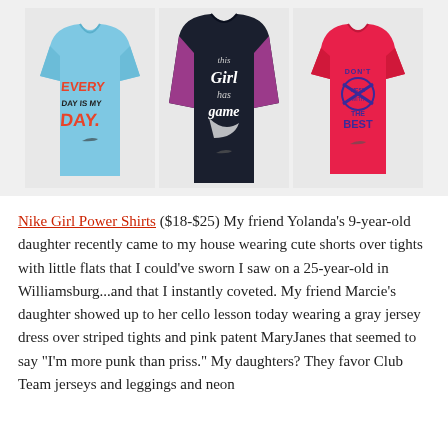[Figure (photo): Three Nike girls' graphic t-shirts displayed side by side: a light blue short-sleeve shirt with 'EVERY DAY IS MY DAY' text, a dark navy/black long-sleeve shirt with purple sleeves and 'this girl has game' graphic, and a pink/red short-sleeve shirt with 'DON'T MESS WITH THE BEST' text.]
Nike Girl Power Shirts ($18-$25) My friend Yolanda's 9-year-old daughter recently came to my house wearing cute shorts over tights with little flats that I could've sworn I saw on a 25-year-old in Williamsburg...and that I instantly coveted. My friend Marcie's daughter showed up to her cello lesson today wearing a gray jersey dress over striped tights and pink patent MaryJanes that seemed to say "I'm more punk than priss." My daughters? They favor Club Team jerseys and leggings and neon